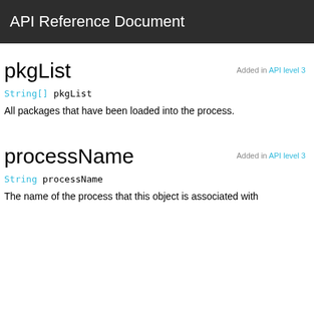API Reference Document
pkgList
Added in API level 3
String[] pkgList
All packages that have been loaded into the process.
processName
Added in API level 3
String processName
The name of the process that this object is associated with